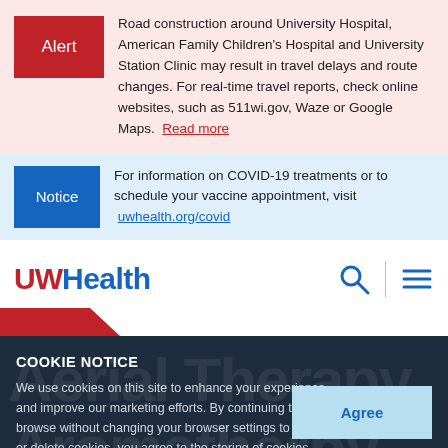Alert — Road construction around University Hospital, American Family Children's Hospital and University Station Clinic may result in travel delays and route changes. For real-time travel reports, check online websites, such as 511wi.gov, Waze or Google Maps. Read more
Notice — For information on COVID-19 treatments or to schedule your vaccine appointment, visit uwhealth.org/covid
[Figure (logo): UWHealth logo with UW in red and Health in blue, search icon and hamburger menu icon]
COOKIE NOTICE
We use cookies on this site to enhance your experience and improve our marketing efforts. By continuing to browse without changing your browser settings to block or delete cookies, you agree to the storing of cookies and related technologies on your device. Learn More